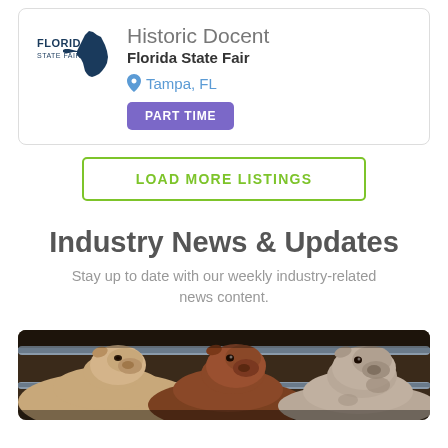[Figure (logo): Florida State Fair logo with state outline]
Historic Docent
Florida State Fair
Tampa, FL
PART TIME
LOAD MORE LISTINGS
Industry News & Updates
Stay up to date with our weekly industry-related news content.
[Figure (photo): Cattle/cows looking through a metal fence rail in a barn or livestock pen]